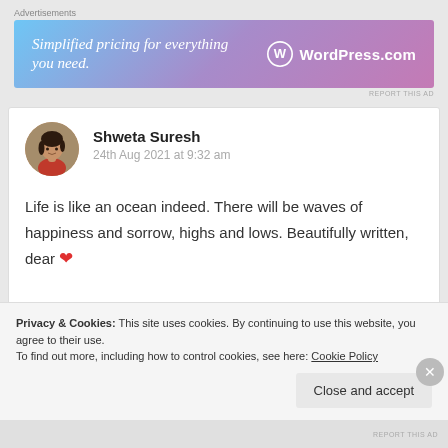Advertisements
[Figure (other): WordPress.com advertisement banner with gradient blue-purple background. Text: 'Simplified pricing for everything you need.' with WordPress.com logo on the right.]
REPORT THIS AD
Shweta Suresh
24th Aug 2021 at 9:32 am
Life is like an ocean indeed. There will be waves of happiness and sorrow, highs and lows. Beautifully written, dear ❤
Privacy & Cookies: This site uses cookies. By continuing to use this website, you agree to their use.
To find out more, including how to control cookies, see here: Cookie Policy
Close and accept
REPORT THIS AD